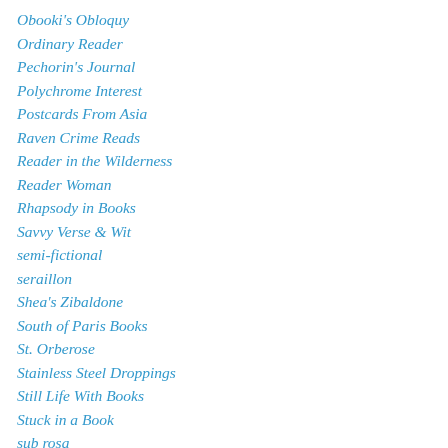Obooki's Obloquy
Ordinary Reader
Pechorin's Journal
Polychrome Interest
Postcards From Asia
Raven Crime Reads
Reader in the Wilderness
Reader Woman
Rhapsody in Books
Savvy Verse & Wit
semi-fictional
seraillon
Shea's Zibaldone
South of Paris Books
St. Orberose
Stainless Steel Droppings
Still Life With Books
Stuck in a Book
sub rosa
SurLaLune Fairy Tales